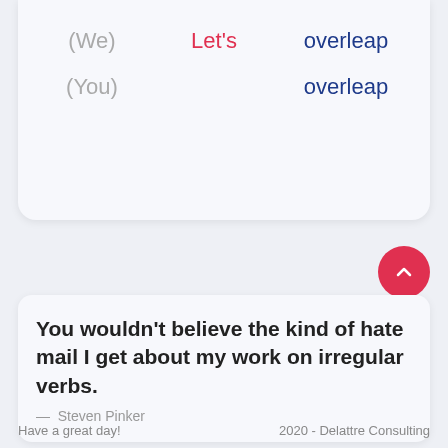| Pronoun | Form | Verb |
| --- | --- | --- |
| (We) | Let's | overleap |
| (You) |  | overleap |
You wouldn't believe the kind of hate mail I get about my work on irregular verbs.
— Steven Pinker
Have a great day!
2020 - Delattre Consulting